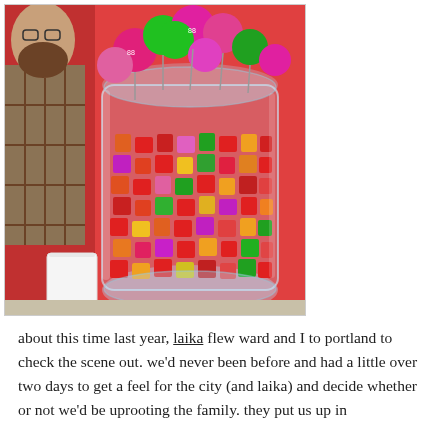[Figure (photo): A large glass jar overflowing with colorful candies (Starburst-type squares and lollipops in red, pink, green, yellow, orange). A man in a plaid shirt is visible in the background next to a red wall, with a white paper cup on the table in front.]
about this time last year, laika flew ward and I to portland to check the scene out. we'd never been before and had a little over two days to get a feel for the city (and laika) and decide whether or not we'd be uprooting the family. they put us up in